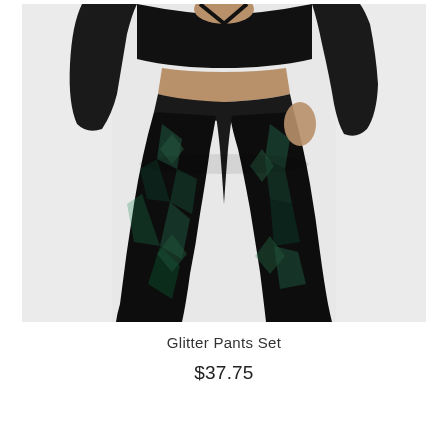[Figure (photo): A woman wearing a black glitter sequin two-piece pants set with a crop top and flared pants featuring a geometric iridescent pattern, shot against a white background.]
Glitter Pants Set
$37.75